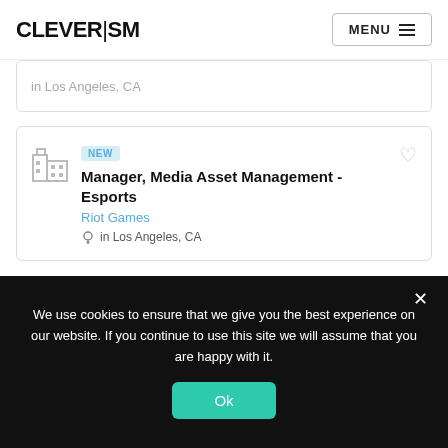CLEVERISM | MENU
NEW Manager, Media Asset Management - Esports | Riot Games | in Los Angeles, CA
NEW Senior Director, Brand Management - VALORANT | Riot Games | in Los Angeles, CA
We use cookies to ensure that we give you the best experience on our website. If you continue to use this site we will assume that you are happy with it.